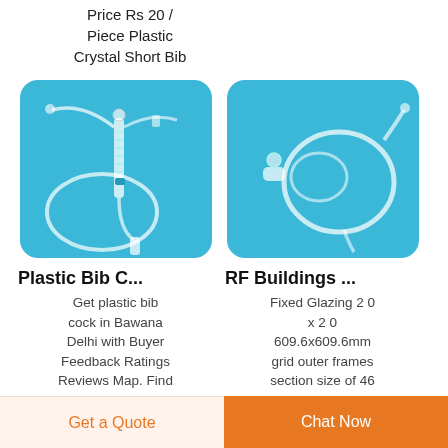Price Rs 20 / Piece Plastic Crystal Short Bib
[Figure (photo): Medical plastic bib cock / IV infusion set on blue background]
[Figure (photo): RF Buildings glazing tubing/pipe set on blue background]
Plastic Bib C...
Get plastic bib cock in Bawana Delhi with Buyer Feedback Ratings Reviews Map. Find plastic bib cock
RF Buildings ...
Fixed Glazing 2 0 x 2 0 609.6x609.6mm grid outer frames section size of 46 x 52 mmlabour
Get a Quote  |  Chat Now